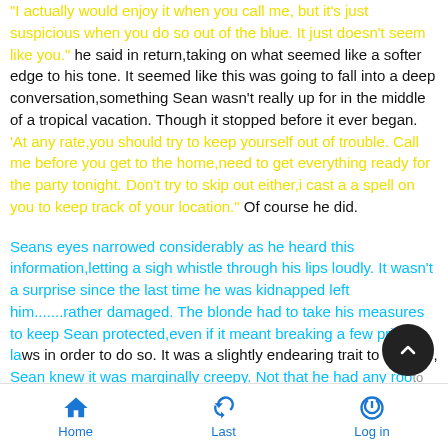"I actually would enjoy it when you call me, but it's just suspicious when you do so out of the blue. It just doesn't seem like you." he said in return,taking on what seemed like a softer edge to his tone. It seemed like this was going to fall into a deep conversation,something Sean wasn't really up for in the middle of a tropical vacation. Though it stopped before it ever began. 'At any rate,you should try to keep yourself out of trouble. Call me before you get to the home,need to get everything ready for the party tonight. Don't try to skip out either,i cast a a spell on you to keep track of your location." Of course he did.
Seans eyes narrowed considerably as he heard this information,letting a sigh whistle through his lips loudly. It wasn't a surprise since the last time he was kidnapped left him.......rather damaged. The blonde had to take his measures to keep Sean protected,even if it meant breaking a few privacy laws in order to do so. It was a slightly endearing trait to be sure, Sean knew it was marginally creepy. Not that he had any room to call him on one when he could control his own blood.
Home  Last  Log in